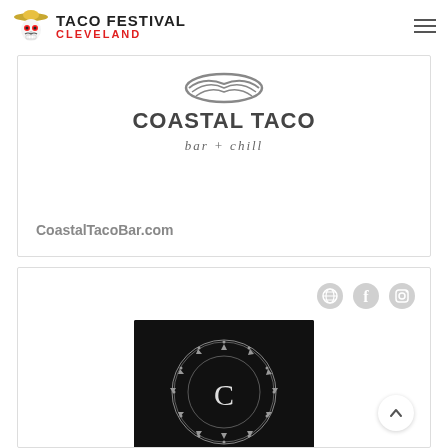TACO FESTIVAL CLEVELAND
[Figure (logo): Coastal Taco bar + chill logo with stylized brush lettering and shell/wave graphic above text]
CoastalTacoBar.com
[Figure (logo): Communion Social Lounge logo — white ornate circular mandala border with 'C' monogram on black background, text 'COMMUNION - SOCIAL LOUNGE -' below]